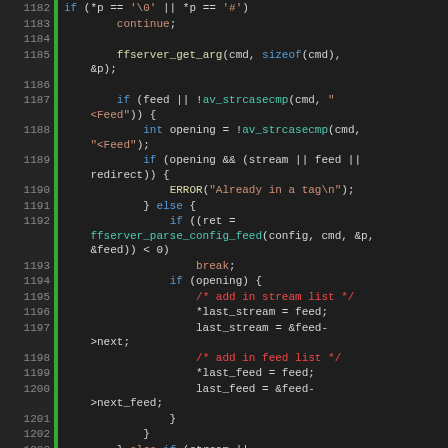[Figure (screenshot): Source code screenshot showing C code lines 1182-1205 from ffserver config parser, dark theme editor with green gutter markers, syntax highlighting in blue/orange/teal/red/yellow/white colors]